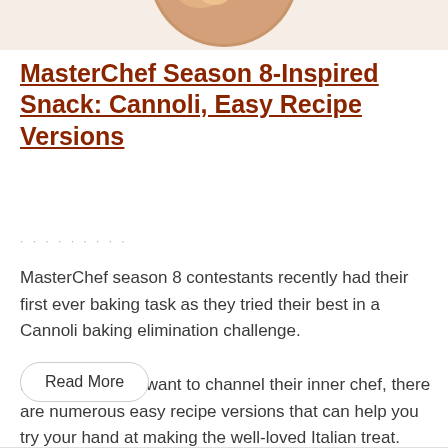[Figure (photo): Partial circular photo of a cannoli or food item visible at the top of the page, cropped]
MasterChef Season 8-Inspired Snack: Cannoli, Easy Recipe Versions
· · · · · · · · ·
MasterChef season 8 contestants recently had their first ever baking task as they tried their best in a Cannoli baking elimination challenge.
For foodies who want to channel their inner chef, there are numerous easy recipe versions that can help you try your hand at making the well-loved Italian treat.
Read More